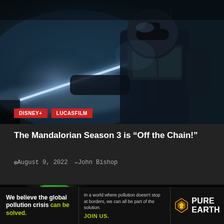[Figure (photo): Dark cinematic scene showing a Mandalorian armored figure holding a glowing lightsaber-like weapon, in teal/blue tones]
DISNEY+
LUCASFILM
The Mandalorian Season 3 is “Off the Chain!”
August 9, 2022   John Bishop
[Figure (photo): Dark scene with greenish glowing element, partial view]
[Figure (infographic): Pure Earth advertisement banner: 'We believe the global pollution crisis can be solved. In a world where pollution doesn't stop at borders, we can all be part of the solution. JOIN US.' with Pure Earth logo]